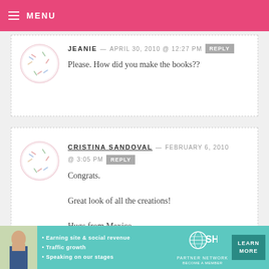MENU
JEANIE — APRIL 30, 2010 @ 12:27 PM
Please. How did you make the books??
CRISTINA SANDOVAL — FEBRUARY 6, 2010 @ 3:05 PM
Congrats.
Great look of all the creations!
Hugs from Mexico
[Figure (infographic): SHE Partner Network advertisement banner with photo of woman, bullet points about earning site & social revenue, traffic growth, speaking on stages, and a Learn More button]